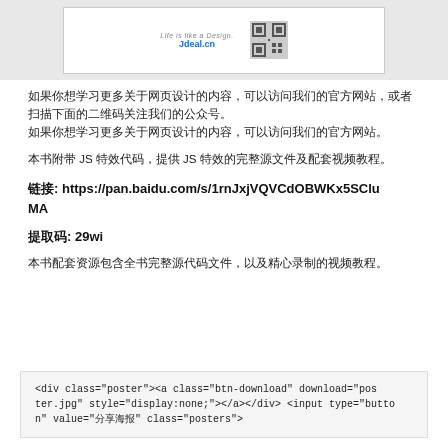[Figure (illustration): Banner with website logo area showing italic text, 'Jdeal.cn' in blue, and a QR code on white card against gray background]
如果你想学习更多关于网页设计的内容，可以访问我们的官方网站，或者扫描下面的二维码关注我们的公众号。
本书附带 JS 特效代码，提供 JS 特效的完整源文件及配套视频教程。
链接: https://pan.baidu.com/s/1rnJxjVQVCdOBWKx5SCluMA
提取码: 29wi
本书配套资源包含全书完整源代码文件，以及精心录制的视频教程。
<div class="poster"><a class="btn-download" download="poster.jpg" style="display:none;"></a></div> <input type="button" value="分享海报" class="posters" onclick="doS()">